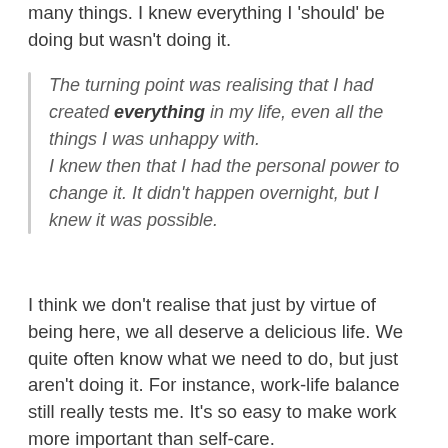many things. I knew everything I 'should' be doing but wasn't doing it.
The turning point was realising that I had created everything in my life, even all the things I was unhappy with. I knew then that I had the personal power to change it. It didn't happen overnight, but I knew it was possible.
I think we don't realise that just by virtue of being here, we all deserve a delicious life. We quite often know what we need to do, but just aren't doing it. For instance, work-life balance still really tests me. It's so easy to make work more important than self-care.